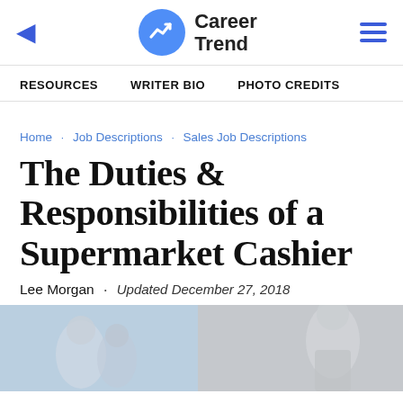Career Trend
RESOURCES  ·  WRITER BIO  ·  PHOTO CREDITS
Home · Job Descriptions · Sales Job Descriptions
The Duties & Responsibilities of a Supermarket Cashier
Lee Morgan  ·  Updated December 27, 2018
[Figure (photo): Photo of people, likely in a workplace or retail setting, split into two panels]